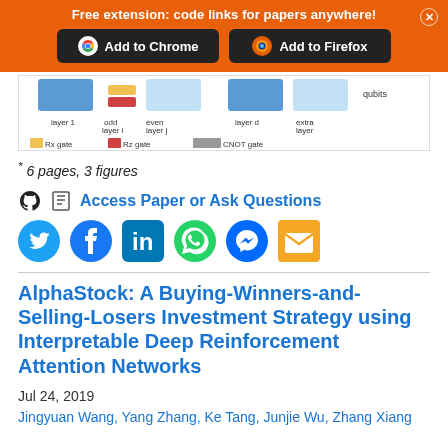Free extension: code links for papers anywhere!
[Figure (screenshot): Orange browser extension banner with Add to Chrome and Add to Firefox buttons]
[Figure (schematic): Circuit diagram showing layer 1, odd layer i, even layer j, layer d, extra layer, qubits, with Rx gate, Rz gate, and CNOT gate legend]
* 6 pages, 3 figures
Access Paper or Ask Questions
AlphaStock: A Buying-Winners-and-Selling-Losers Investment Strategy using Interpretable Deep Reinforcement Attention Networks
Jul 24, 2019
Jingyuan Wang, Yang Zhang, Ke Tang, Junjie Wu, Zhang Xiang